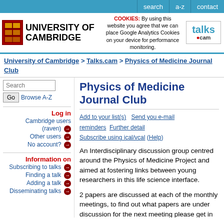search  a-z  contact
[Figure (logo): University of Cambridge crest and name logo with talks.cam logo and cookie notice]
COOKIES: By using this website you agree that we can place Google Analytics Cookies on your device for performance monitoring.
University of Cambridge > Talks.cam > Physics of Medicine Journal Club
Physics of Medicine Journal Club
Add to your list(s)   Send you e-mail reminders   Further detail   Subscribe using ical/vcal (Help)
An Interdisciplinary discussion group centred around the Physics of Medicine Project and aimed at fostering links between young researchers in this life science interface.
2 papers are discussed at each of the monthly meetings, to find out what papers are under discussion for the next meeting please get in
Log in
Cambridge users (raven)
Other users
No account?
Information on
Subscribing to talks
Finding a talk
Adding a talk
Disseminating talks